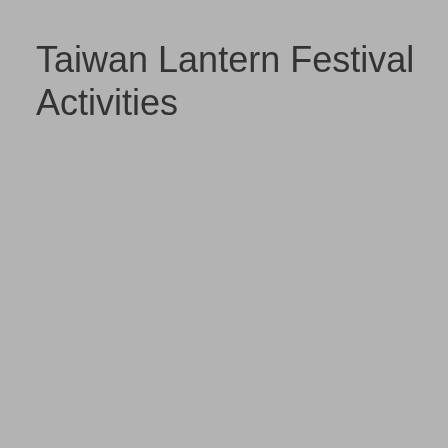Taiwan Lantern Festival Activities